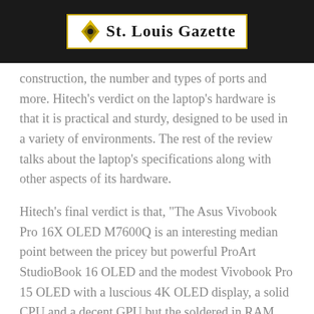St. Louis Gazette
construction, the number and types of ports and more. Hitech's verdict on the laptop's hardware is that it is practical and sturdy, designed to be used in a variety of environments. The rest of the review talks about the laptop's specifications along with other aspects of its hardware.
Hitech's final verdict is that, “The Asus Vivobook Pro 16X OLED M7600Q is an interesting median point between the pricey but powerful ProArt StudioBook 16 OLED and the modest Vivobook Pro 15 OLED with a luscious 4K OLED display, a solid CPU and a decent GPU but the soldered in RAM and quaint clustered ports on its right side may give more serious content creators